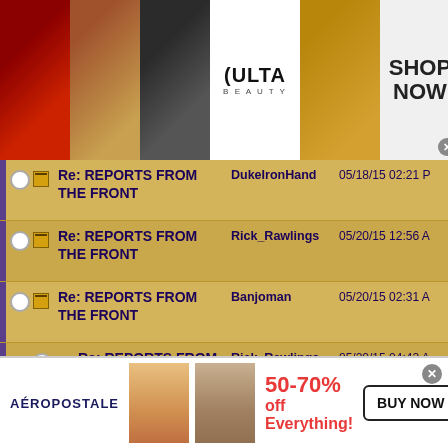[Figure (photo): Top banner advertisement for ULTA Beauty with makeup photos and SHOP NOW text]
|  | Subject | Author | Date |
| --- | --- | --- | --- |
| ○ 🗋 | Re: REPORTS FROM THE FRONT | DukeIronHand | 05/18/15 02:21 PM |
| ○ 🗋 | Re: REPORTS FROM THE FRONT | Rick_Rawlings | 05/20/15 12:56 AM |
| ○ 🗋 | Re: REPORTS FROM THE FRONT | Banjoman | 05/20/15 02:31 AM |
| ○ | Re: REPORTS FROM THE FRONT | Rick_Rawlings | 05/20/15 04:42 AM |
| ○ 🗋 | Re: REPORTS FROM THE FRONT | MudWasp | 05/20/15 12:55 PM |
| ○ 🗋 | Re: REPORTS FROM THE FRONT | Rick_Rawlings | 05/20/15 01:29 PM |
| ○ 🗋 | Re: REPORTS FROM | DukeIronHand |  |
[Figure (photo): Bottom banner advertisement for Aeropostale with 50-70% off everything and BUY NOW button]